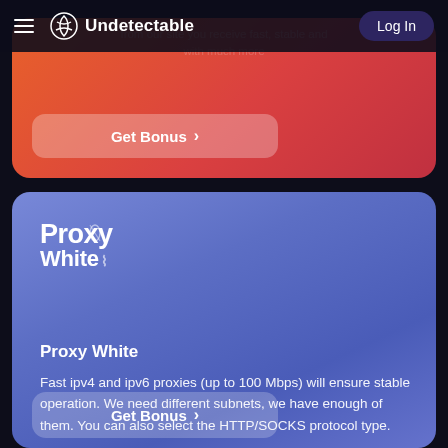Undetectable — Log In
[Figure (screenshot): Orange-red gradient card with faded text 'from our site you receive fast, stable and...' and a 'Get Bonus >' button]
[Figure (screenshot): Blue gradient card showing 'Proxy White' logo, section header 'Proxy White', description text about ipv4/ipv6 proxies, and a 'Get Bonus >' button]
Proxy White
Fast ipv4 and ipv6 proxies (up to 100 Mbps) will ensure stable operation. We need different subnets, we have enough of them. You can also select the HTTP/SOCKS protocol type.